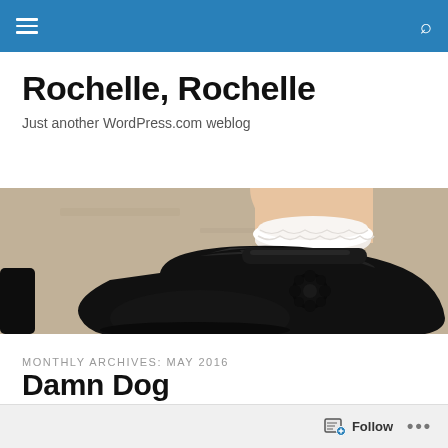Navigation bar with menu and search icons
Rochelle, Rochelle
Just another WordPress.com weblog
[Figure (photo): Close-up photo of a child's black patent leather Mary Jane shoe with white ruffle socks, on a grey concrete surface]
MONTHLY ARCHIVES: MAY 2016
Damn Dog
Follow ...